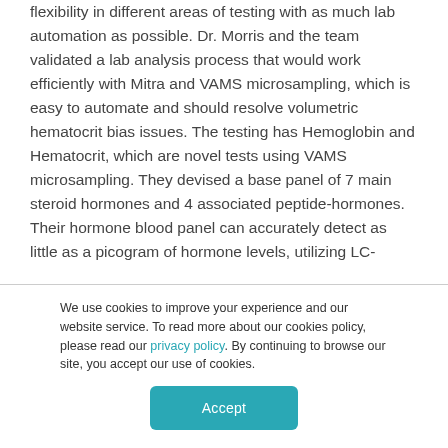flexibility in different areas of testing with as much lab automation as possible. Dr. Morris and the team validated a lab analysis process that would work efficiently with Mitra and VAMS microsampling, which is easy to automate and should resolve volumetric hematocrit bias issues. The testing has Hemoglobin and Hematocrit, which are novel tests using VAMS microsampling. They devised a base panel of 7 main steroid hormones and 4 associated peptide-hormones. Their hormone blood panel can accurately detect as little as a picogram of hormone levels, utilizing LC-
We use cookies to improve your experience and our website service. To read more about our cookies policy, please read our privacy policy. By continuing to browse our site, you accept our use of cookies.